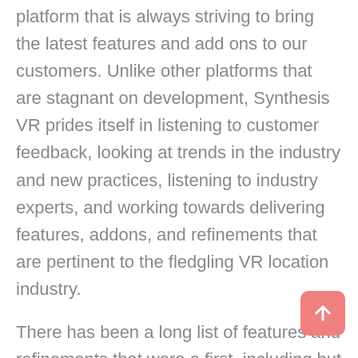platform that is always striving to bring the latest features and add ons to our customers. Unlike other platforms that are stagnant on development, Synthesis VR prides itself in listening to customer feedback, looking at trends in the industry and new practices, listening to industry experts, and working towards delivering features, addons, and refinements that are pertinent to the fledgling VR location industry.
There has been a long list of features and refinements that were a first, including but not limited to support for mixed reality using OBS, NFC support, membership, real-time diagnostics, and more.